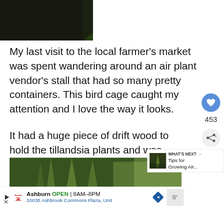[Figure (photo): Close-up photo of green spiky air plant (tillandsia) against dark background]
My last visit to the local farmer's market was spent wandering around an air plant vendor's stall that had so many pretty containers. This bird cage caught my attention and I love the way it looks.
It had a huge piece of drift wood to hold the tillandsia plants and was about 5 fe
[Figure (photo): Photo of air plants at the bottom of the page]
[Figure (screenshot): WHAT'S NEXT widget showing Tips for Growing Air...]
[Figure (infographic): Advertisement bar: Ashburn OPEN 8AM-8PM, 20035 Ashbrook Commons Plaza, Unit - Smoothie King]